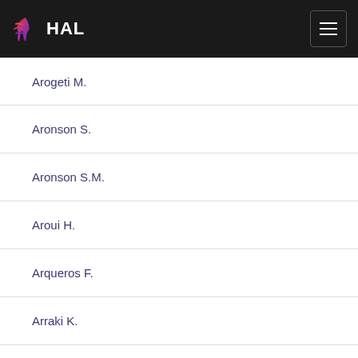HAL
Arogeti M.
Aronson S.
Aronson S.M.
Aroui H.
Arqueros F.
Arraki K.
Arrat Denis
Arriaga Pauline
Arribas Beltran N
Arroyo-Torres B.